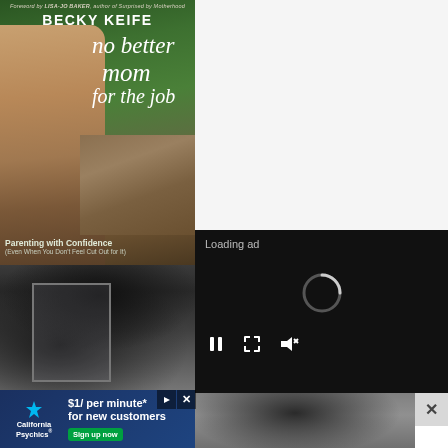[Figure (photo): Book cover for 'no better mom for the job' by Becky Keife, with foreword by Lisa-Jo Baker. Shows a smiling woman with long hair in the foreground and children walking on a dirt path in the background. Subtitle: Parenting with Confidence (Even When You Don't Feel Cut Out for It)]
[Figure (screenshot): Video ad player panel with black background showing 'Loading ad' text and a spinning loading circle indicator, with playback controls (pause, fullscreen, mute) at the bottom]
[Figure (photo): Bottom portion of the page showing close-up of a person's dark hair with a mirror frame visible]
[Figure (screenshot): Advertisement banner for California Psychics offering '$1/ per minute* for new customers' with a 'Sign up now' button and a close X button]